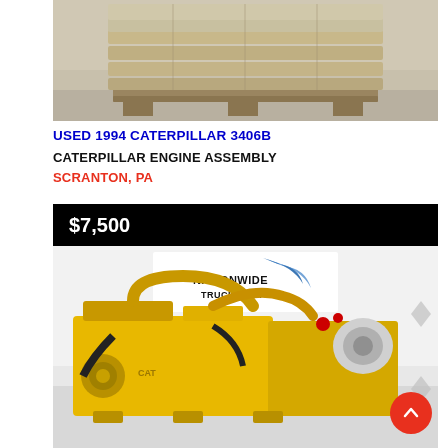[Figure (photo): Photo of wooden pallet with boards stacked on it, viewed from front in a warehouse or yard setting.]
USED 1994 CATERPILLAR 3406B
CATERPILLAR ENGINE ASSEMBLY
SCRANTON, PA
[Figure (photo): Photo of a yellow Caterpillar 3406B engine assembly on display in front of a Nationwide Truck Parts banner. Price shown: $7,500.]